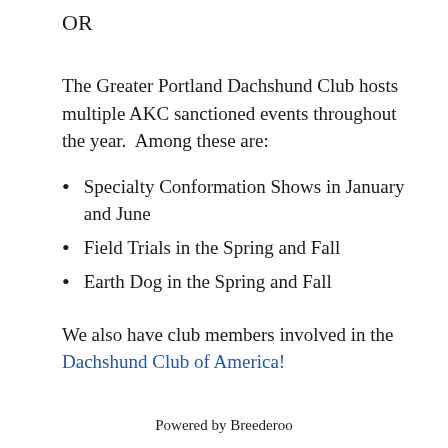OR
The Greater Portland Dachshund Club hosts multiple AKC sanctioned events throughout the year.  Among these are:
Specialty Conformation Shows in January and June
Field Trials in the Spring and Fall
Earth Dog in the Spring and Fall
We also have club members involved in the Dachshund Club of America!
Powered by Breederoo